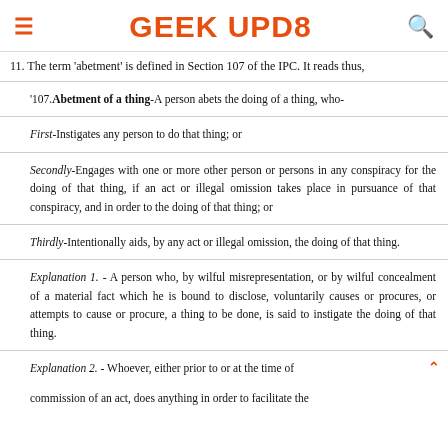GEEK UPD8
11. The term 'abetment' is defined in Section 107 of the IPC. It reads thus,
| '107.Abetment of a thing-A person abets the doing of a thing, who- |
| First-Instigates any person to do that thing; or |
| Secondly-Engages with one or more other person or persons in any conspiracy for the doing of that thing, if an act or illegal omission takes place in pursuance of that conspiracy, and in order to the doing of that thing; or |
| Thirdly-Intentionally aids, by any act or illegal omission, the doing of that thing. |
| Explanation 1. - A person who, by wilful misrepresentation, or by wilful concealment of a material fact which he is bound to disclose, voluntarily causes or procures, or attempts to cause or procure, a thing to be done, is said to instigate the doing of that thing. |
| Explanation 2. - Whoever, either prior to or at the time of commission of an act, does anything in order to facilitate the |